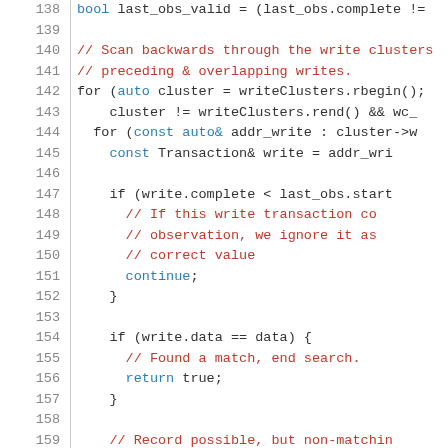[Figure (screenshot): Source code listing showing C++ code lines 138-159, with line numbers on the left, and syntax-highlighted code on the right. Comments in red/brown, keywords and identifiers in dark/blue, on white background.]